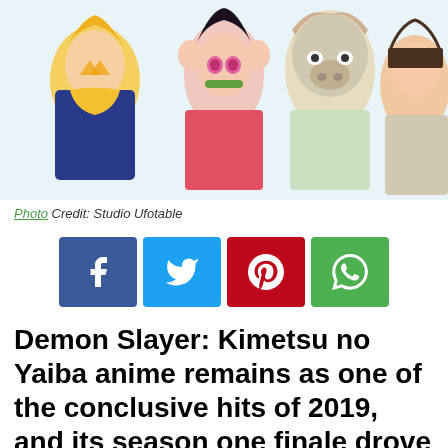[Figure (illustration): Anime illustration of Demon Slayer characters including Zenitsu, Nezuko, Inosuke and another character, colorful group shot]
Photo Credit: Studio Ufotable
[Figure (infographic): Social media share buttons: Facebook (blue), Twitter (light blue), Pinterest (red), WhatsApp (green)]
Demon Slayer: Kimetsu no Yaiba anime remains as one of the conclusive hits of 2019, and its season one finale drove
people grew to thank fans for the...